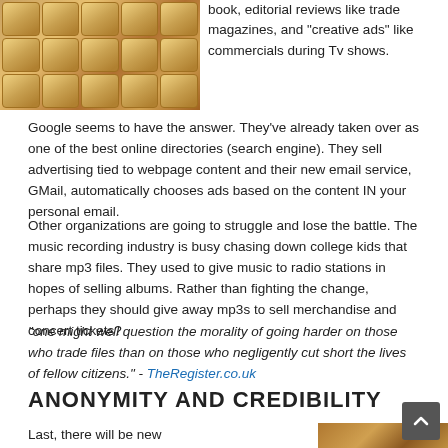[Figure (photo): Close-up photo of chocolate or marshmallow confections in a grid pattern, warm golden-brown tones]
book, editorial reviews like trade magazines, and "creative ads" like commercials during Tv shows.
Google seems to have the answer. They've already taken over as one of the best online directories (search engine). They sell advertising tied to webpage content and their new email service, GMail, automatically chooses ads based on the content IN your personal email.
Other organizations are going to struggle and lose the battle. The music recording industry is busy chasing down college kids that share mp3 files. They used to give music to radio stations in hopes of selling albums. Rather than fighting the change, perhaps they should give away mp3s to sell merchandise and concert tickets?
"one might well question the morality of going harder on those who trade files than on those who negligently cut short the lives of fellow citizens." - TheRegister.co.uk
ANONYMITY AND CREDIBILITY
Last, there will be new
[Figure (photo): Partial view of warm-toned confection photo at bottom right]